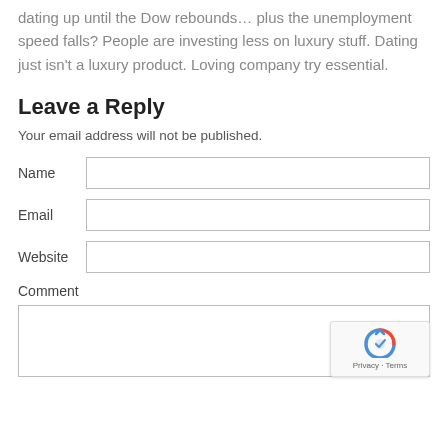dating up until the Dow rebounds... plus the unemployment speed falls? People are investing less on luxury stuff. Dating just isn't a luxury product. Loving company try essential.
Leave a Reply
Your email address will not be published.
Name [input field]
Email [input field]
Website [input field]
Comment
[Comment textarea]